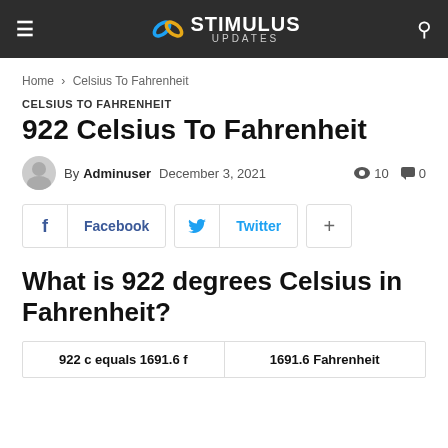STIMULUS UPDATES
Home › Celsius To Fahrenheit
CELSIUS TO FAHRENHEIT
922 Celsius To Fahrenheit
By Adminuser  December 3, 2021  👁 10  💬 0
Facebook  Twitter  +
What is 922 degrees Celsius in Fahrenheit?
| 922 c equals 1691.6 f | 1691.6 Fahrenheit |